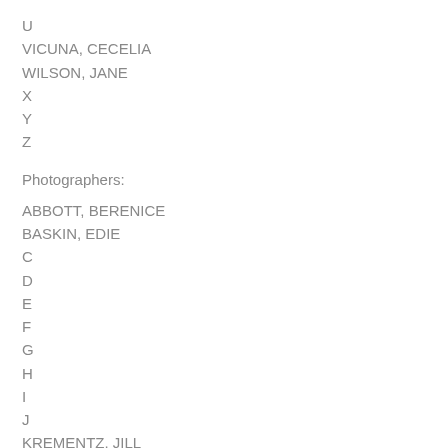U
VICUNA, CECELIA
WILSON, JANE
X
Y
Z
Photographers:
ABBOTT, BERENICE
BASKIN, EDIE
C
D
E
F
G
H
I
J
KREMENTZ, JILL
LANGE, DOROTHEA
MILLER, LEE